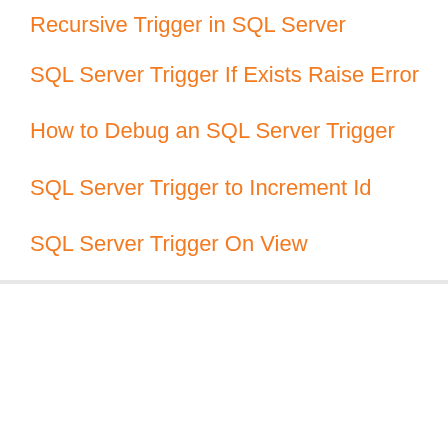Recursive Trigger in SQL Server
SQL Server Trigger If Exists Raise Error
How to Debug an SQL Server Trigger
SQL Server Trigger to Increment Id
SQL Server Trigger On View